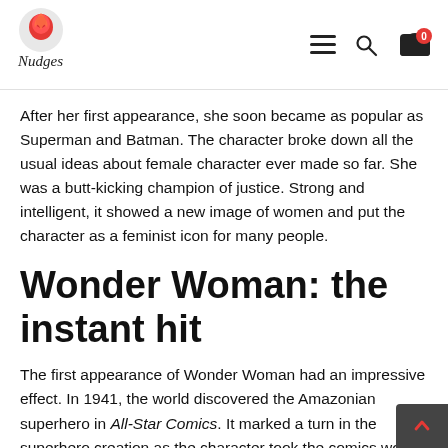Nutees — navigation bar with logo, hamburger menu, search, and cart icons
After her first appearance, she soon became as popular as Superman and Batman. The character broke down all the usual ideas about female character ever made so far. She was a butt-kicking champion of justice. Strong and intelligent, it showed a new image of women and put the character as a feminist icon for many people.
Wonder Woman: the instant hit
The first appearance of Wonder Woman had an impressive effect. In 1941, the world discovered the Amazonian superhero in All-Star Comics. It marked a turn in the superhero creation as the character took the comics world by storm. The audience loved the character and her story. She fastly became one of the favorite superheroes from the DC Comics. The publisher of the comics featuring Wonder Woman knew that this